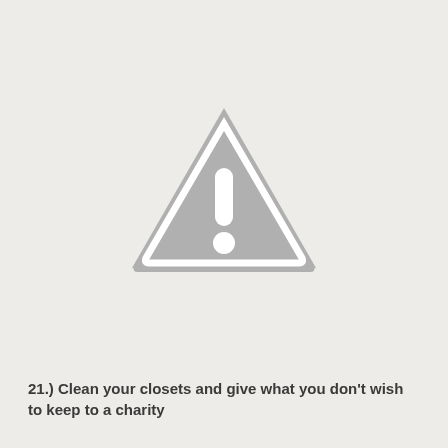[Figure (illustration): A warning/caution triangle icon with a gray fill and white exclamation mark inside, centered in the upper half of the page.]
21.) Clean your closets and give what you don't wish to keep to a charity